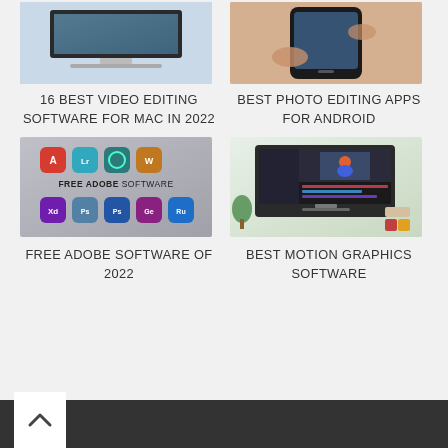[Figure (screenshot): Screenshot of video editing software on a Mac desktop computer]
[Figure (photo): Hand holding an Android phone showing photo editing app]
16 BEST VIDEO EDITING SOFTWARE FOR MAC IN 2022
BEST PHOTO EDITING APPS FOR ANDROID
[Figure (screenshot): Free Adobe software icons grid showing Acrobat, Lightroom, Photoshop, XD, Rush and other Adobe apps]
[Figure (screenshot): Motion graphics software interface on a Mac desktop with animation timeline]
FREE ADOBE SOFTWARE OF 2022
BEST MOTION GRAPHICS SOFTWARE
Back to top button and dark footer bar